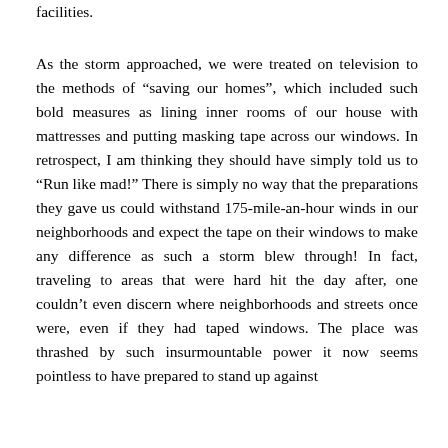facilities.
As the storm approached, we were treated on television to the methods of “saving our homes”, which included such bold measures as lining inner rooms of our house with mattresses and putting masking tape across our windows. In retrospect, I am thinking they should have simply told us to “Run like mad!” There is simply no way that the preparations they gave us could withstand 175-mile-an-hour winds in our neighborhoods and expect the tape on their windows to make any difference as such a storm blew through! In fact, traveling to areas that were hard hit the day after, one couldn’t even discern where neighborhoods and streets once were, even if they had taped windows. The place was thrashed by such insurmountable power it now seems pointless to have prepared to stand up against it.